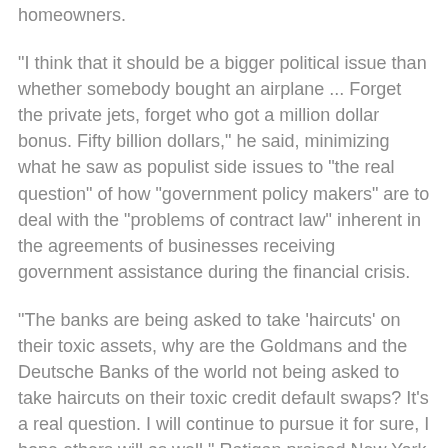homeowners.
"I think that it should be a bigger political issue than whether somebody bought an airplane ... Forget the private jets, forget who got a million dollar bonus. Fifty billion dollars," he said, minimizing what he saw as populist side issues to "the real question" of how "government policy makers" are to deal with the "problems of contract law" inherent in the agreements of businesses receiving government assistance during the financial crisis.
"The banks are being asked to take 'haircuts' on their toxic assets, why are the Goldmans and the Deutsche Banks of the world not being asked to take haircuts on their toxic credit default swaps? It's a real question. I will continue to pursue it for sure, I hope others will as well." Ratigan praised New York Attorney General Andrew Cuomo's subpoena of AIG to determine the bank payouts as "legitimate inquiry" and looked forward to "a [cut off]